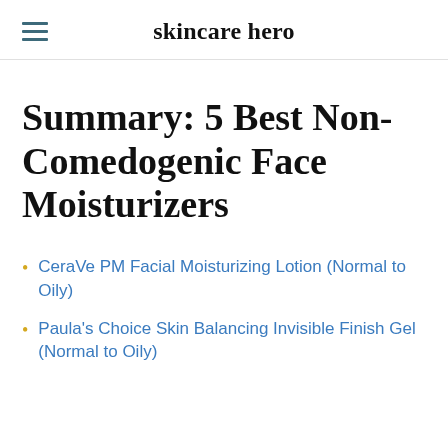skincare hero
Summary: 5 Best Non-Comedogenic Face Moisturizers
CeraVe PM Facial Moisturizing Lotion (Normal to Oily)
Paula's Choice Skin Balancing Invisible Finish Gel (Normal to Oily)